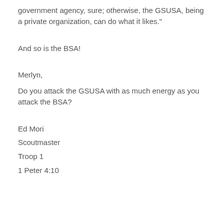government agency, sure; otherwise, the GSUSA, being a private organization, can do what it likes."
And so is the BSA!
Merlyn,
Do you attack the GSUSA with as much energy as you attack the BSA?
Ed Mori
Scoutmaster
Troop 1
1 Peter 4:10